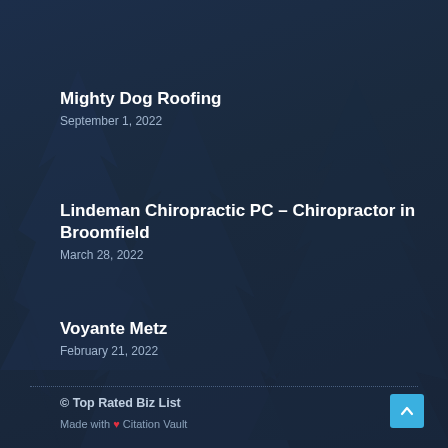Mighty Dog Roofing
September 1, 2022
Lindeman Chiropractic PC – Chiropractor in Broomfield
March 28, 2022
Voyante Metz
February 21, 2022
© Top Rated Biz List
Made with ❤ Citation Vault